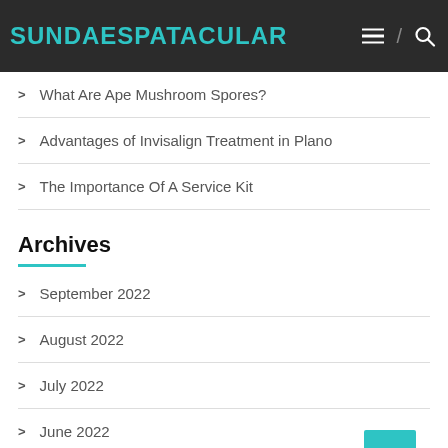SUNDAESPATACULAR
What Are Ape Mushroom Spores?
Advantages of Invisalign Treatment in Plano
The Importance Of A Service Kit
Archives
September 2022
August 2022
July 2022
June 2022
May 2022
April 2022